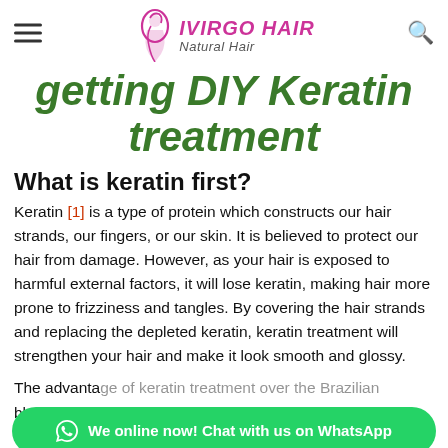IVIRGO HAIR Natural Hair
getting DIY Keratin treatment
What is keratin first?
Keratin [1] is a type of protein which constructs our hair strands, our fingers, or our skin. It is believed to protect our hair from damage. However, as your hair is exposed to harmful external factors, it will lose keratin, making hair more prone to frizziness and tangles. By covering the hair strands and replacing the depleted keratin, keratin treatment will strengthen your hair and make it look smooth and glossy.
The advantage of keratin treatment over the Brazilian blowout – or other methods of hair straightening – is that it will not break your hair's structure but build
We online now! Chat with us on WhatsApp